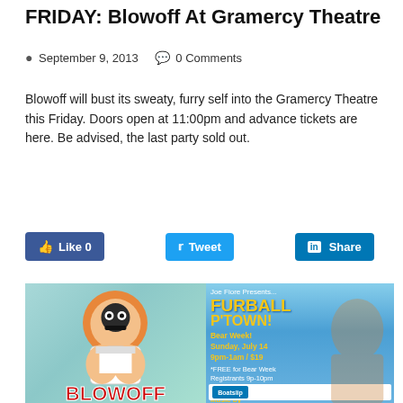FRIDAY: Blowoff At Gramercy Theatre
September 9, 2013   0 Comments
Blowoff will bust its sweaty, furry self into the Gramercy Theatre this Friday. Doors open at 11:00pm and advance tickets are here. Be advised, the last party sold out.
Read More »
[Figure (screenshot): Social share buttons: Facebook Like 0, Twitter Tweet, LinkedIn Share]
[Figure (illustration): Left half: Blowoff event poster with cartoon muscular sailor character on teal/orange background with BLOWOFF text in red. Right half: Furball P'Town event poster for Bear Week Sunday July 14.]